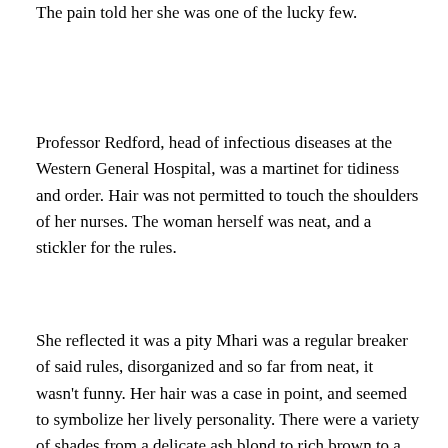The pain told her she was one of the lucky few.
Professor Redford, head of infectious diseases at the Western General Hospital, was a martinet for tidiness and order. Hair was not permitted to touch the shoulders of her nurses. The woman herself was neat, and a stickler for the rules.
She reflected it was a pity Mhari was a regular breaker of said rules, disorganized and so far from neat, it wasn't funny. Her hair was a case in point, and seemed to symbolize her lively personality. There were a variety of shades from a delicate ash blond to rich brown to a vivid red gold. It was long and heavy and hated confinement of any kind. A bit like Mhari herself, it was disobedient and obstinate, yet soft and appealing.